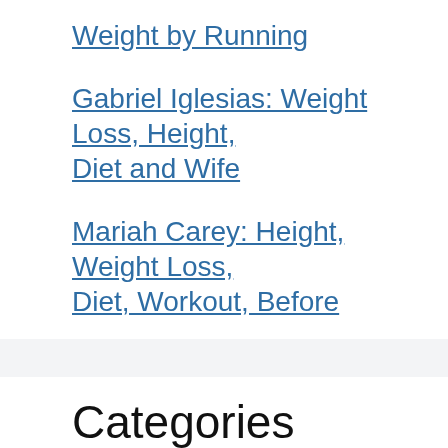Weight by Running
Gabriel Iglesias: Weight Loss, Height, Diet and Wife
Mariah Carey: Height, Weight Loss, Diet, Workout, Before
Categories
Plastic Surgery
Trending
Weight Loss Guides
Weight Loss Stories